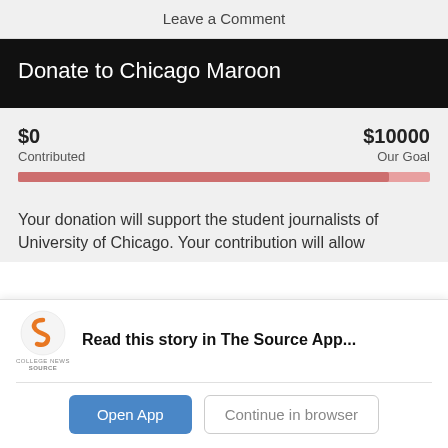Leave a Comment
Donate to Chicago Maroon
$0 Contributed   $10000 Our Goal
Your donation will support the student journalists of University of Chicago. Your contribution will allow
Read this story in The Source App...
Open App   Continue in browser